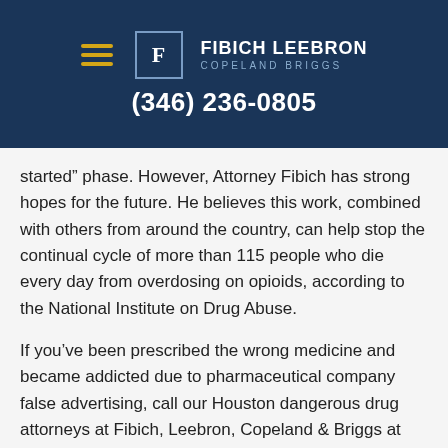FIBICH LEEBRON COPELAND BRIGGS | (346) 236-0805
started” phase. However, Attorney Fibich has strong hopes for the future. He believes this work, combined with others from around the country, can help stop the continual cycle of more than 115 people who die every day from overdosing on opioids, according to the National Institute on Drug Abuse.
If you’ve been prescribed the wrong medicine and became addicted due to pharmaceutical company false advertising, call our Houston dangerous drug attorneys at Fibich, Leebron, Copeland & Briggs at (346) 236-0805 to request a